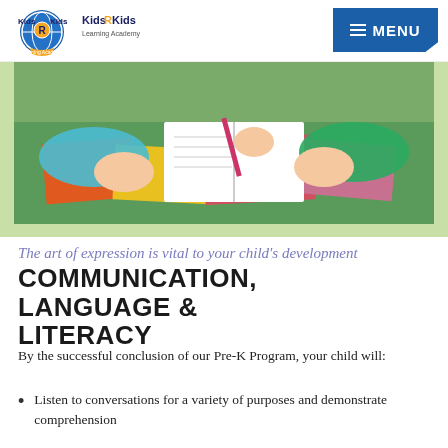[Figure (logo): Kids R Kids Learning Academy logo — circular globe badge with 'Kids R Kids' text and 'Learning Academy' below]
[Figure (photo): Close-up photo of children's hands writing/drawing in a book on a colorful table with orange, yellow, and pink/red papers]
The art of expression is vital to your child's development
COMMUNICATION, LANGUAGE & LITERACY
By the successful conclusion of our Pre-K Program, your child will:
Listen to conversations for a variety of purposes and demonstrate comprehension